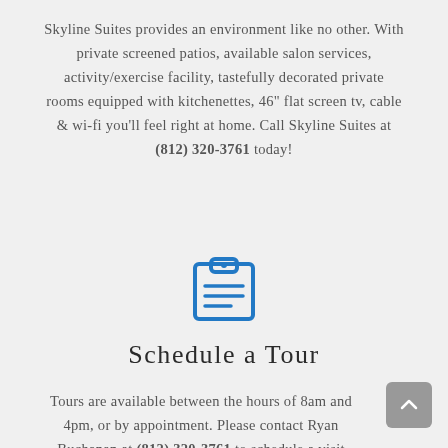Skyline Suites provides an environment like no other. With private screened patios, available salon services, activity/exercise facility, tastefully decorated private rooms equipped with kitchenettes, 46" flat screen tv, cable & wi-fi you'll feel right at home. Call Skyline Suites at (812) 320-3761 today!
[Figure (illustration): Blue clipboard icon with lines representing text/list items]
Schedule a Tour
Tours are available between the hours of 8am and 4pm, or by appointment. Please contact Ryan Buchanan at (812) 320-3761 to schedule a visit